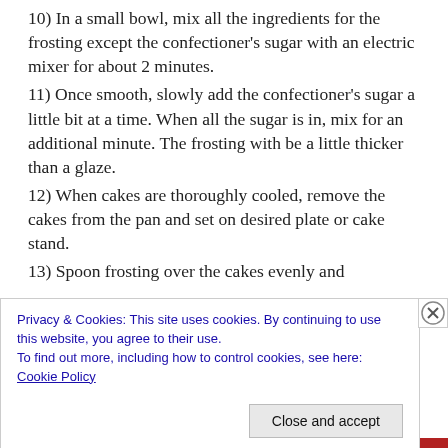10) In a small bowl, mix all the ingredients for the frosting except the confectioner's sugar with an electric mixer for about 2 minutes.
11) Once smooth, slowly add the confectioner's sugar a little bit at a time. When all the sugar is in, mix for an additional minute. The frosting with be a little thicker than a glaze.
12) When cakes are thoroughly cooled, remove the cakes from the pan and set on desired plate or cake stand.
13) Spoon frosting over the cakes evenly and
Privacy & Cookies: This site uses cookies. By continuing to use this website, you agree to their use.
To find out more, including how to control cookies, see here:
Cookie Policy
Close and accept